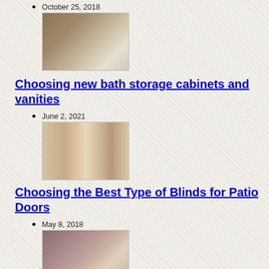October 25, 2018
[Figure (photo): Bathroom vanity with wooden cabinet and mirror]
Choosing new bath storage cabinets and vanities
June 2, 2021
[Figure (photo): Vertical blinds on a patio door]
Choosing the Best Type of Blinds for Patio Doors
May 8, 2018
[Figure (photo): Bathroom shower with tile walls and toilet]
Best Bathroom Showers Designs And Ideas
February 27, 2019